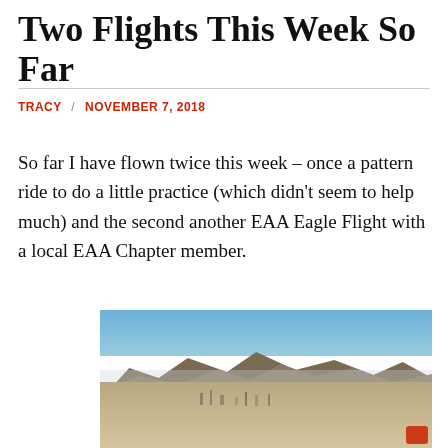Two Flights This Week So Far
TRACY / NOVEMBER 7, 2018
So far I have flown twice this week – once a pattern ride to do a little practice (which didn’t seem to help much) and the second another EAA Eagle Flight with a local EAA Chapter member.
[Figure (photo): Aerial photograph showing a city in a valley with mountains in the background and blue sky above. A red aircraft element is partially visible at lower right.]